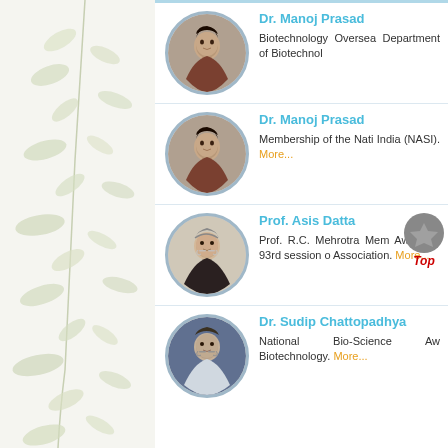[Figure (photo): Circular portrait photo of Dr. Manoj Prasad (first entry)]
Dr. Manoj Prasad
Biotechnology Overseas Department of Biotechnology
[Figure (photo): Circular portrait photo of Dr. Manoj Prasad (second entry)]
Dr. Manoj Prasad
Membership of the National Academy of Sciences India (NASI). More...
[Figure (photo): Circular portrait photo of Prof. Asis Datta]
Prof. Asis Datta
Prof. R.C. Mehrotra Memorial Award at 93rd session of Indian Science Association. More...
[Figure (photo): Circular portrait photo of Dr. Sudip Chattopadhyay]
Dr. Sudip Chattopadhya
National Bio-Science Award Biotechnology. More...